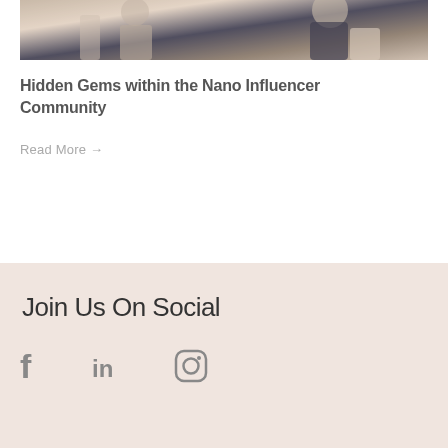[Figure (photo): Photo of people, partially visible at top of page — appears to show individuals in a casual setting with navy and white clothing]
Hidden Gems within the Nano Influencer Community
Read More →
Join Us On Social
[Figure (infographic): Social media icons: Facebook (f), LinkedIn (in), Instagram (camera/circle icon)]